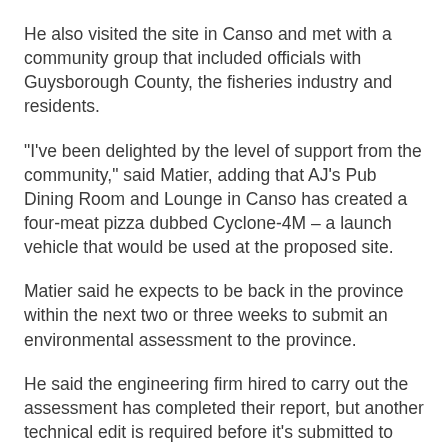He also visited the site in Canso and met with a community group that included officials with Guysborough County, the fisheries industry and residents.
"I've been delighted by the level of support from the community," said Matier, adding that AJ's Pub Dining Room and Lounge in Canso has created a four-meat pizza dubbed Cyclone-4M – a launch vehicle that would be used at the proposed site.
Matier said he expects to be back in the province within the next two or three weeks to submit an environmental assessment to the province.
He said the engineering firm hired to carry out the assessment has completed their report, but another technical edit is required before it's submitted to Nova Scotia's Environment Department for review.
The...